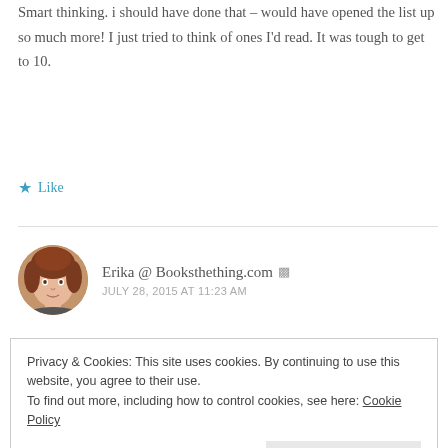Smart thinking. i should have done that – would have opened the list up so much more! I just tried to think of ones I'd read. It was tough to get to 10.
★ Like
Erika @ Booksthething.com
JULY 28, 2015 AT 11:23 AM
Privacy & Cookies: This site uses cookies. By continuing to use this website, you agree to their use. To find out more, including how to control cookies, see here: Cookie Policy
Close and accept